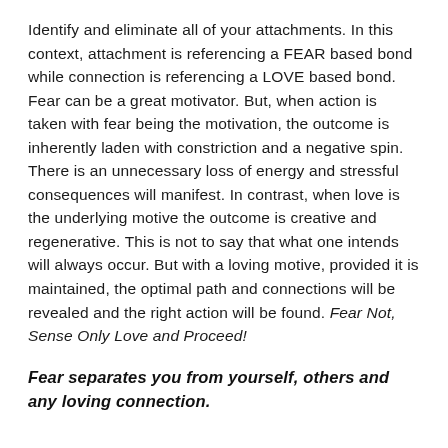Identify and eliminate all of your attachments. In this context, attachment is referencing a FEAR based bond while connection is referencing a LOVE based bond. Fear can be a great motivator. But, when action is taken with fear being the motivation, the outcome is inherently laden with constriction and a negative spin. There is an unnecessary loss of energy and stressful consequences will manifest. In contrast, when love is the underlying motive the outcome is creative and regenerative. This is not to say that what one intends will always occur. But with a loving motive, provided it is maintained, the optimal path and connections will be revealed and the right action will be found. Fear Not, Sense Only Love and Proceed!
Fear separates you from yourself, others and any loving connection.